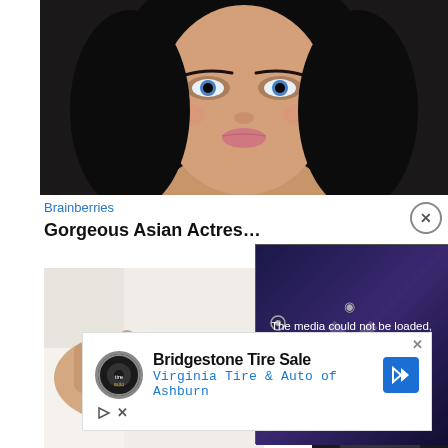[Figure (photo): Close-up portrait of an attractive woman with dark hair, bright blue eyes, and makeup, against a dark background.]
Brainberries
Gorgeous Asian Actres…
[Figure (photo): Close-up of a person's hand wearing a watch with a white background.]
[Figure (screenshot): Media player error overlay with purple/dark background showing: 'The media could not be loaded, either because the server or network failed or because the format is not supported.']
[Figure (photo): Person sitting in a car, dark background, partial view.]
[Figure (screenshot): Advertisement: Bridgestone Tire Sale — Virginia Tire & Auto of Ashburn, with tire logo and arrow graphic.]